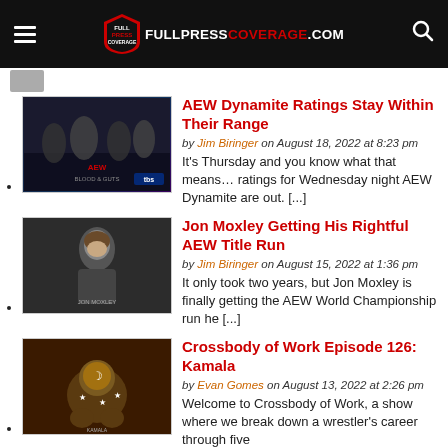FULLPRESSCOVERAGE.COM
AEW Dynamite Ratings Stay Within Their Range — by Jim Biringer on August 18, 2022 at 8:23 pm — It's Thursday and you know what that means… ratings for Wednesday night AEW Dynamite are out. [...]
Jon Moxley Getting His Rightful AEW Title Run — by Jim Biringer on August 15, 2022 at 1:36 pm — It only took two years, but Jon Moxley is finally getting the AEW World Championship run he [...]
Crossbody of Work Episode 126: Kamala — by Evan Gomes on August 13, 2022 at 2:26 pm — Welcome to Crossbody of Work, a show where we break down a wrestler's career through five